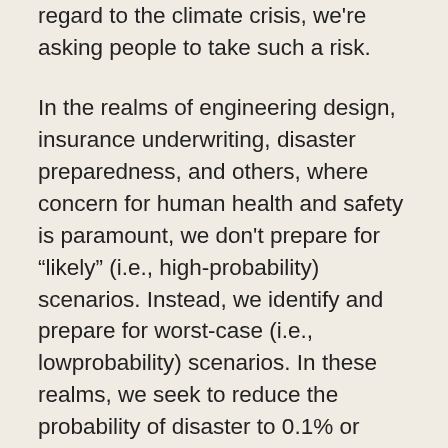regard to the climate crisis, we're asking people to take such a risk.
In the realms of engineering design, insurance underwriting, disaster preparedness, and others, where concern for human health and safety is paramount, we don't prepare for “likely” (i.e., high-probability) scenarios. Instead, we identify and prepare for worst-case (i.e., lowprobability) scenarios. In these realms, we seek to reduce the probability of disaster to 0.1% or 0.01% or less.
If we were to apply the same level of concern for human health and safety in addressing the climate crisis, we would immediately cease all GHG emissions.
RECOMMENDATION: